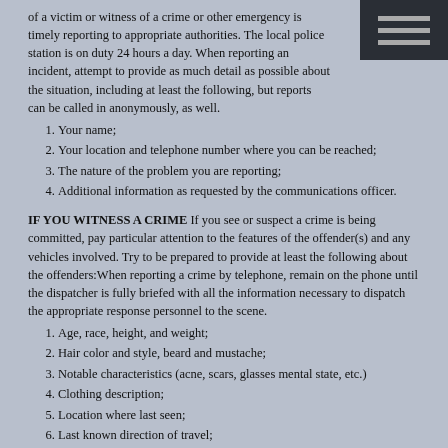of a victim or witness of a crime or other emergency is timely reporting to appropriate authorities. The local police station is on duty 24 hours a day. When reporting an incident, attempt to provide as much detail as possible about the situation, including at least the following, but reports can be called in anonymously, as well.
Your name;
Your location and telephone number where you can be reached;
The nature of the problem you are reporting;
Additional information as requested by the communications officer.
IF YOU WITNESS A CRIME  If you see or suspect a crime is being committed, pay particular attention to the features of the offender(s) and any vehicles involved. Try to be prepared to provide at least the following about the offenders:When reporting a crime by telephone, remain on the phone until the dispatcher is fully briefed with all the information necessary to dispatch the appropriate response personnel to the scene.
Age, race, height, and weight;
Hair color and style, beard and mustache;
Notable characteristics (acne, scars, glasses mental state, etc.)
Clothing description;
Location where last seen;
Last known direction of travel;
Vehicle description and distinctive markings.
Witnesses who wish to remain anonymous may do so. It is more important that a response be dispatched as quickly as possible.  IF YOU ARE